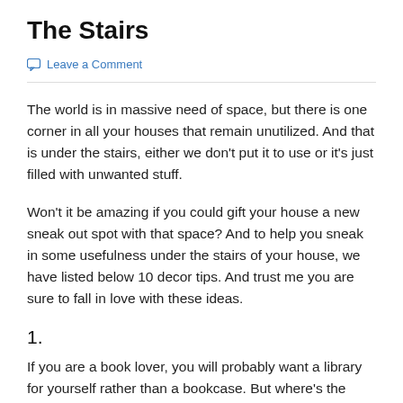The Stairs
Leave a Comment
The world is in massive need of space, but there is one corner in all your houses that remain unutilized. And that is under the stairs, either we don't put it to use or it's just filled with unwanted stuff.
Won't it be amazing if you could gift your house a new sneak out spot with that space? And to help you sneak in some usefulness under the stairs of your house, we have listed below 10 decor tips. And trust me you are sure to fall in love with these ideas.
1.
If you are a book lover, you will probably want a library for yourself rather than a bookcase. But where's the